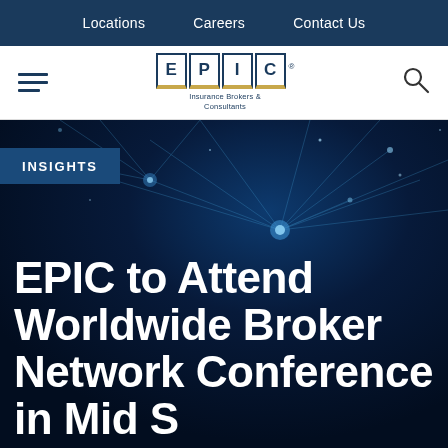Locations   Careers   Contact Us
[Figure (logo): EPIC Insurance Brokers & Consultants logo with hamburger menu and search icon]
[Figure (photo): Dark blue network/technology background with glowing blue dots and light beams]
INSIGHTS
EPIC to Attend Worldwide Broker Network Conference in Mid Season